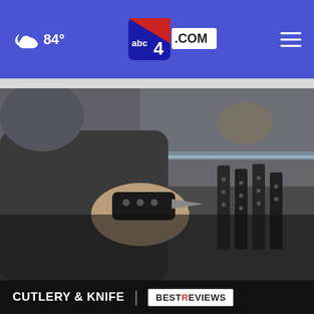84° abc4.com
[Figure (screenshot): A person examining a small folding knife or multi-tool with black handles, with a set of larger knives on a magnetic strip visible in the background on a glass shelf display]
CUTLERY & KNIFE
[Figure (logo): BestReviews logo — white background with BEST in black bold and REVIEWS in black bold with a red R]